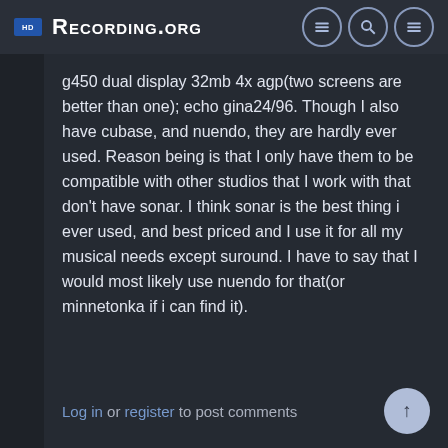Recording.org
g450 dual display 32mb 4x agp(two screens are better than one); echo gina24/96. Though I also have cubase, and nuendo, they are hardly ever used. Reason being is that I only have them to be compatible with other studios that I work with that don't have sonar. I think sonar is the best thing i ever used, and best priced and I use it for all my musical needs except suround. I have to say that I would most likely use nuendo for that(or minnetonka if i can find it).
Log in or register to post comments